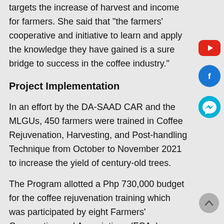targets the increase of harvest and income for farmers. She said that “the farmers’ cooperative and initiative to learn and apply the knowledge they have gained is a sure bridge to success in the coffee industry.”
Project Implementation
In an effort by the DA-SAAD CAR and the MLGUs, 450 farmers were trained in Coffee Rejuvenation, Harvesting, and Post-handling Technique from October to November 2021 to increase the yield of century-old trees.
The Program allotted a Php 730,000 budget for the coffee rejuvenation training which was participated by eight Farmers’ Cooperative and Associations (FCAs) namely Guina-and Pasil Farmers Association of Pasil; Nambucayan